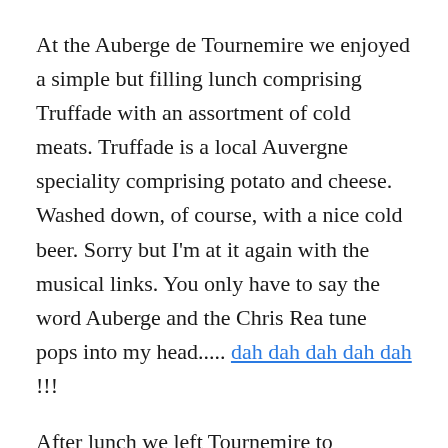At the Auberge de Tournemire we enjoyed a simple but filling lunch comprising Truffade with an assortment of cold meats. Truffade is a local Auvergne speciality comprising potato and cheese. Washed down, of course, with a nice cold beer. Sorry but I'm at it again with the musical links. You only have to say the word Auberge and the Chris Rea tune pops into my head..... dah dah dah dah dah !!!
After lunch we left Tournemire to meander our way back to the gite. Referring to some local pamphlets we picked up in the Tourist Office, and having paid our one Euro parking fee, we decided to go via Pleaux.